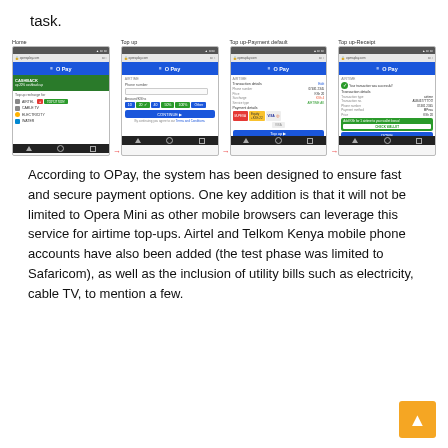task.
[Figure (screenshot): Four mobile phone screenshots showing OPay app screens: Home, Top up, Top up-Payment default, and Top up-Receipt]
According to OPay, the system has been designed to ensure fast and secure payment options. One key addition is that it will not be limited to Opera Mini as other mobile browsers can leverage this service for airtime top-ups. Airtel and Telkom Kenya mobile phone accounts have also been added (the test phase was limited to Safaricom), as well as the inclusion of utility bills such as electricity, cable TV, to mention a few.